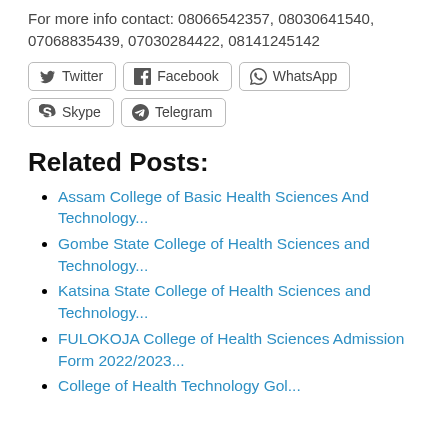For more info contact: 08066542357, 08030641540, 07068835439, 07030284422, 08141245142
[Figure (other): Social sharing buttons: Twitter, Facebook, WhatsApp, Skype, Telegram]
Related Posts:
Assam College of Basic Health Sciences And Technology...
Gombe State College of Health Sciences and Technology...
Katsina State College of Health Sciences and Technology...
FULOKOJA College of Health Sciences Admission Form 2022/2023...
College of Health Technology Gol...